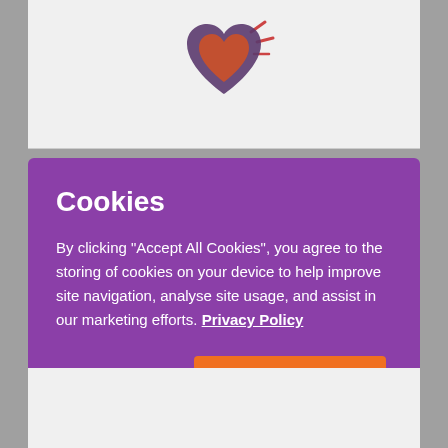[Figure (logo): A heart-shaped logo with purple and orange/red colors with rays, representing the website brand]
Cookies
By clicking "Accept All Cookies", you agree to the storing of cookies on your device to help improve site navigation, analyse site usage, and assist in our marketing efforts. Privacy Policy
Cookies Settings
Accept All Cookies